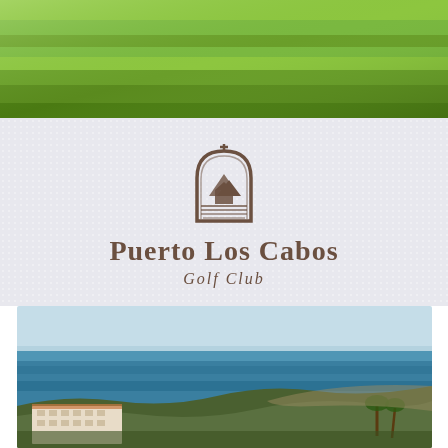[Figure (photo): Aerial view of a lush green golf course fairway with bright green grass]
[Figure (logo): Puerto Los Cabos Golf Club logo — arched emblem with a building and mountains, brown color scheme, with text 'Puerto Los Cabos Golf Club']
[Figure (photo): Aerial coastal view showing a large resort hotel building near the ocean, blue sea in the background, palm trees and arid landscape, with a search/magnify icon overlay in top right corner]